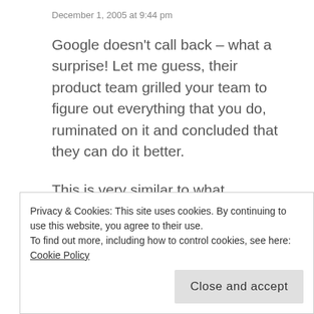December 1, 2005 at 9:44 pm
Google doesn't call back – what a surprise! Let me guess, their product team grilled your team to figure out everything that you do, ruminated on it and concluded that they can do it better.
This is very similar to what Microsoft used to do, albeit in a different form during the late 80's early 90's: go under NDA, very excitedly figure out what you do, talk partnerships, buy-outs, then radio
Privacy & Cookies: This site uses cookies. By continuing to use this website, you agree to their use.
To find out more, including how to control cookies, see here: Cookie Policy
Close and accept